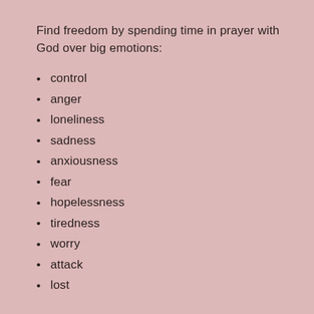Find freedom by spending time in prayer with God over big emotions:
control
anger
loneliness
sadness
anxiousness
fear
hopelessness
tiredness
worry
attack
lost